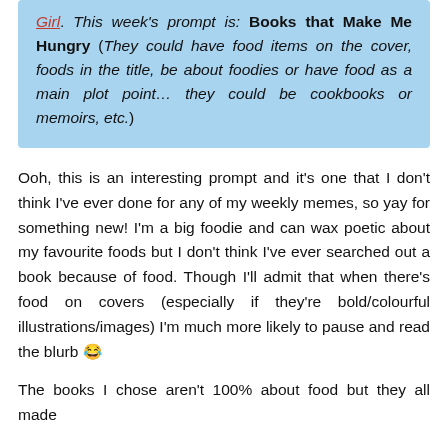Girl. This week's prompt is: Books that Make Me Hungry (They could have food items on the cover, foods in the title, be about foodies or have food as a main plot point… they could be cookbooks or memoirs, etc.)
Ooh, this is an interesting prompt and it's one that I don't think I've ever done for any of my weekly memes, so yay for something new! I'm a big foodie and can wax poetic about my favourite foods but I don't think I've ever searched out a book because of food. Though I'll admit that when there's food on covers (especially if they're bold/colourful illustrations/images) I'm much more likely to pause and read the blurb 😂
The books I chose aren't 100% about food but they all made